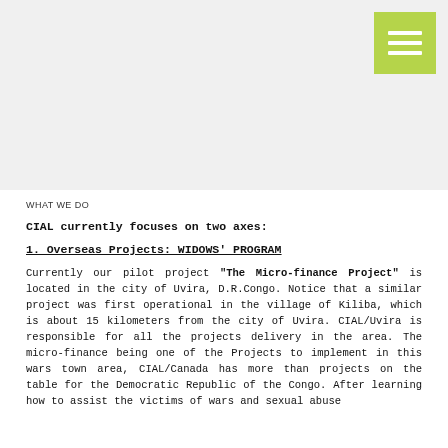[Figure (other): Light gray hero/banner image area at top of page]
[Figure (other): Green hamburger menu icon in top-right corner with three white horizontal bars]
WHAT WE DO
CIAL currently focuses on two axes:
1. Overseas Projects: WIDOWS' PROGRAM
Currently our pilot project “The Micro-finance Project” is located in the city of Uvira, D.R.Congo. Notice that a similar project was first operational in the village of Kiliba, which is about 15 kilometers from the city of Uvira. CIAL/Uvira is responsible for all the projects delivery in the area. The micro-finance being one of the Projects to implement in this wars town area, CIAL/Canada has more than projects on the table for the Democratic Republic of the Congo. After learning how to assist the victims of wars and sexual abuse